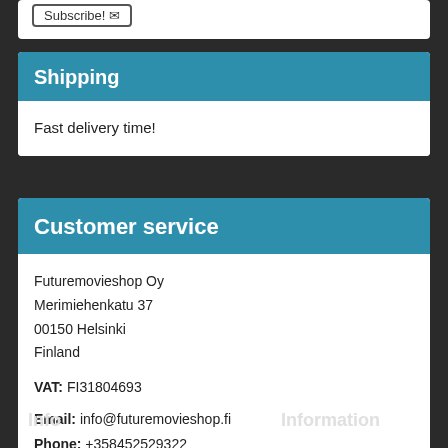Subscribe!
Shipping
Fast delivery time!
Customer service
Futuremovieshop Oy
Merimiehenkatu 37
00150 Helsinki
Finland
VAT: FI31804693
Email: info@futuremovieshop.fi
Phone: +358452529322
Info	Information